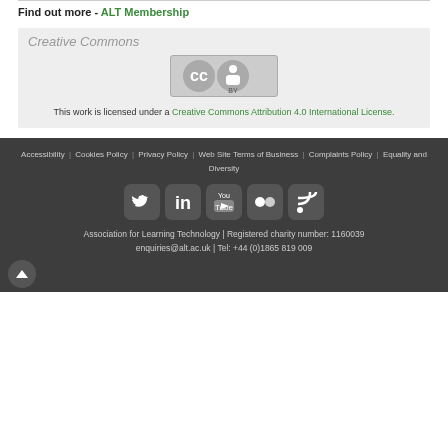Find out more - ALT Membership
Creative Commons
[Figure (logo): Creative Commons CC BY license badge]
This work is licensed under a Creative Commons Attribution 4.0 International License.
Accessibility | Cookies Policy | Privacy Policy | Web Site Terms of Business | Complaints Policy | Equality and Diversity
[Figure (other): Social media icons: Twitter, LinkedIn, YouTube, Flickr, RSS]
Association for Learning Technology | Registered charity number: 1160039
enquiries@alt.ac.uk | Tel: +44 (0)1865 819 009